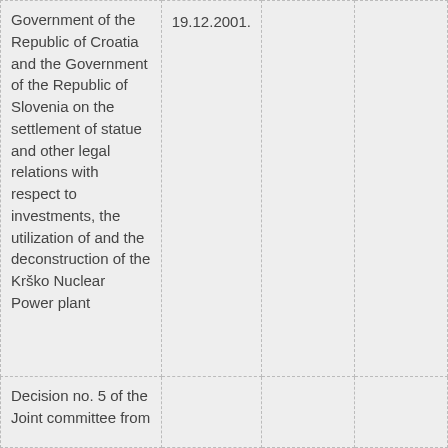| Government of the Republic of Croatia and the Government of the Republic of Slovenia on the settlement of statue and other legal relations with respect to investments, the utilization of and the deconstruction of the Krško Nuclear Power plant | 19.12.2001. |  |  |
| Decision no. 5 of the Joint committee from |  |  |  |